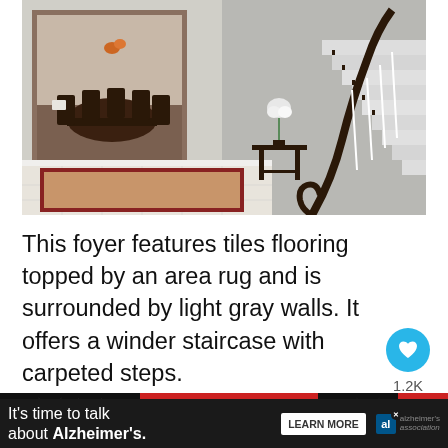[Figure (photo): Interior foyer with light gray walls, white tile flooring with a beige and red area rug, a winder staircase with carpeted steps and dark wood banister on the right, a console table with flowers, and an open doorway leading to a dining room with dark wood furniture and flooring.]
This foyer features tiles flooring topped by an area rug and is surrounded by light gray walls. It offers a winder staircase with carpeted steps.
[Figure (screenshot): Like button (heart icon) in blue circle, 1.2K count, and share button in blue circle]
[Figure (infographic): Advertisement banner: BEST FRIENDS with cat images, partially visible]
[Figure (screenshot): Advertisement bar: It's time to talk about Alzheimer's. LEARN MORE button. Alzheimer's Association logo.]